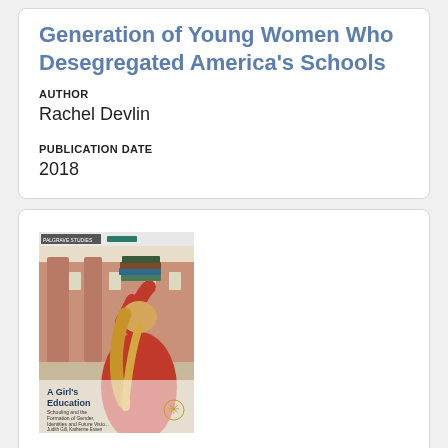Generation of Young Women Who Desegregated America's Schools
AUTHOR
Rachel Devlin
PUBLICATION DATE
2018
[Figure (photo): Book cover of 'A Girl's Education: Schooling and the Formation of Gender, Identities and Future Visions' by Judith Gill, Katherine Essen and Rosalind Ewert, published by Palgrave Macmillan. Shows a girl with long blonde hair in a red sweater balancing a stack of books on her head, standing in front of a brick building.]